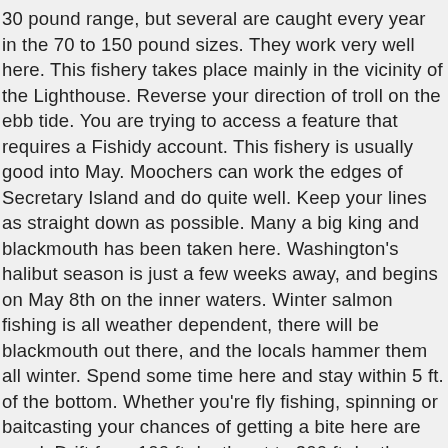30 pound range, but several are caught every year in the 70 to 150 pound sizes. They work very well here. This fishery takes place mainly in the vicinity of the Lighthouse. Reverse your direction of troll on the ebb tide. You are trying to access a feature that requires a Fishidy account. This fishery is usually good into May. Moochers can work the edges of Secretary Island and do quite well. Keep your lines as straight down as possible. Many a big king and blackmouth has been taken here. Washington's halibut season is just a few weeks away, and begins on May 8th on the inner waters. Winter salmon fishing is all weather dependent, there will be blackmouth out there, and the locals hammer them all winter. Spend some time here and stay within 5 ft. of the bottom. Whether you're fly fishing, spinning or baitcasting your chances of getting a bite here are good. Drift from 100 ft depth out to 300 ft depth on the down side of the tidal flow. This will also make for a better eating fish. Humpies – The Humpies run on the odd year. Watch for diving birds up on the bank itself. You can back into the current with